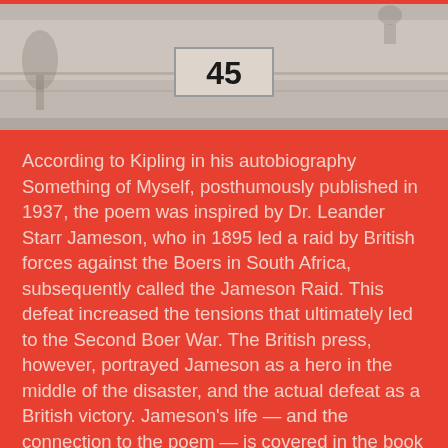[Figure (photo): Black and white photograph showing a concrete wall or ledge with the number 45 marked on it, with a plant or figure visible on the left side]
According to Kipling in his autobiography Something of Myself, posthumously published in 1937, the poem was inspired by Dr. Leander Starr Jameson, who in 1895 led a raid by British forces against the Boers in South Africa, subsequently called the Jameson Raid. This defeat increased the tensions that ultimately led to the Second Boer War. The British press, however, portrayed Jameson as a hero in the middle of the disaster, and the actual defeat as a British victory. Jameson's life — and the connection to the poem — is covered in the book The If Man.
If you can keep your head when all about you are losing theirs and blaming it on you; If you can trust